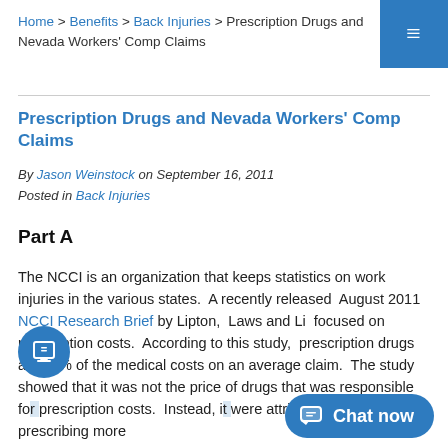Home > Benefits > Back Injuries > Prescription Drugs and Nevada Workers' Comp Claims
Prescription Drugs and Nevada Workers' Comp Claims
By Jason Weinstock on September 16, 2011
Posted in Back Injuries
Part A
The NCCI is an organization that keeps statistics on work injuries in the various states. A recently released August 2011 NCCI Research Brief by Lipton, Laws and Li focused on prescription costs. According to this study, prescription drugs are 19% of the medical costs on an average claim. The study showed that it was not the price of drugs that was responsible for prescription costs. Instead, it were attributable to doctors prescribing more